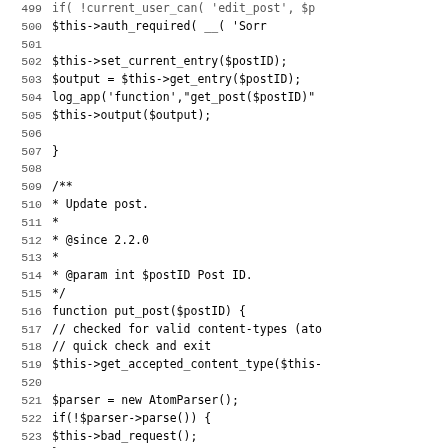[Figure (screenshot): Source code listing showing PHP lines 499-531, featuring methods for set_current_entry, get_entry, log_app, output, and put_post with comments and AtomParser usage.]